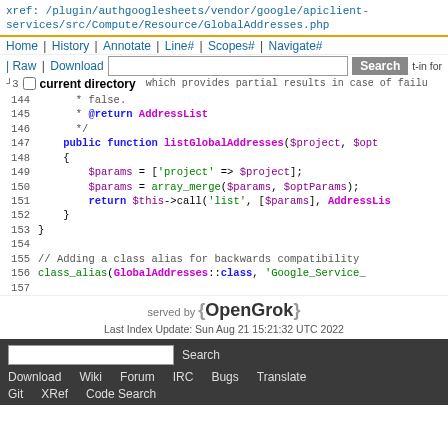xref: /plugin/authgooglesheets/vendor/google/apiclient-services/src/Compute/Resource/GlobalAddresses.php
Home | History | Annotate | Line# | Scopes# | Navigate#
| Raw | Download
current directory
143  * which provides partial results in case of failu
144      * false.
145      * @return AddressList
146      */
147      public function listGlobalAddresses($project, $opt
148      {
149          $params = ['project' => $project];
150          $params = array_merge($params, $optParams);
151          return $this->call('list', [$params], AddressLis
152      }
153  }
154  
155  // Adding a class alias for backwards compatibility
156  class_alias(GlobalAddresses::class, 'Google_Service_
157
served by {OpenGrok}
Last Index Update: Sun Aug 21 15:21:32 UTC 2022
Search  Download  Wiki  Forum  IRC  Bugs  Translate  Git  XRef  Code Search